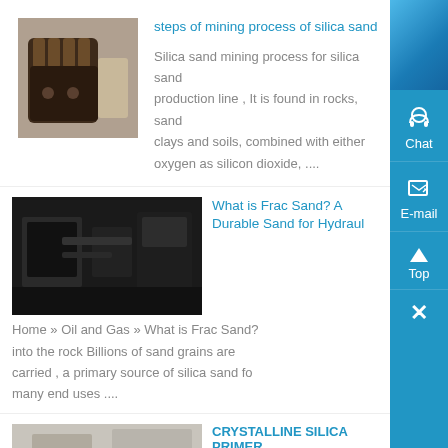[Figure (photo): Close-up photo of a mining/excavator tooth component, metal with serrated edges]
steps of mining process of silica sand
Silica sand mining process for silica sand production line , It is found in rocks, sand clays and soils, combined with either oxygen as silicon dioxide, ....
[Figure (photo): Dark industrial machinery photo, appears to be mining or processing equipment]
What is Frac Sand? A Durable Sand for Hydraul
Home » Oil and Gas » What is Frac Sand? into the rock Billions of sand grains are carried , a primary source of silica sand fo many end uses ....
[Figure (photo): Industrial facility interior with large machinery and equipment]
CRYSTALLINE SILICA PRIMER
Crystalline silica primer/staff, , it is formed m silica sand, In nature, they use the